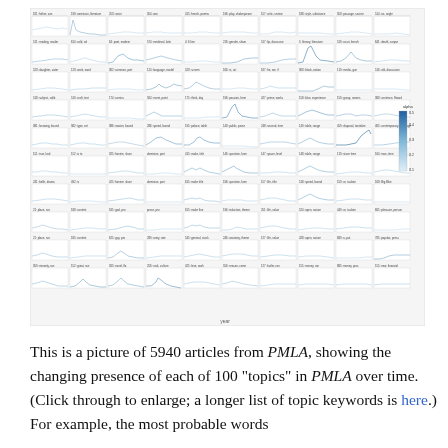[Figure (continuous-plot): A large grid of 100 small line charts (10 columns × 10 rows) showing the changing presence of 100 topics in PMLA articles over time. Each small chart has a labeled topic title and shows a time-series line colored in shades of blue indicating alpha/proportion. A color legend on the right side shows alpha values from 0.1 to 0.5.]
This is a picture of 5940 articles from PMLA, showing the changing presence of each of 100 "topics" in PMLA over time. (Click through to enlarge; a longer list of topic keywords is here.) For example, the most probable words